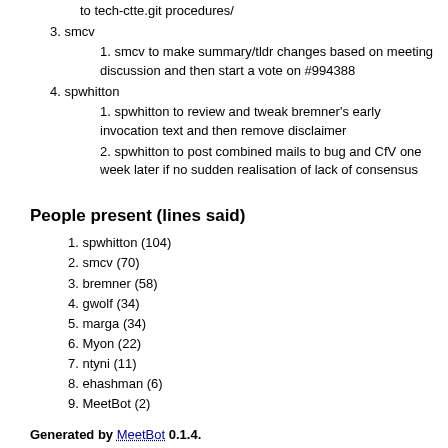to tech-ctte.git procedures/
3. smcv
1. smcv to make summary/tldr changes based on meeting discussion and then start a vote on #994388
4. spwhitton
1. spwhitton to review and tweak bremner's early invocation text and then remove disclaimer
2. spwhitton to post combined mails to bug and CfV one week later if no sudden realisation of lack of consensus
People present (lines said)
1. spwhitton (104)
2. smcv (70)
3. bremner (58)
4. gwolf (34)
5. marga (34)
6. Myon (22)
7. ntyni (11)
8. ehashman (6)
9. MeetBot (2)
Generated by MeetBot 0.1.4.